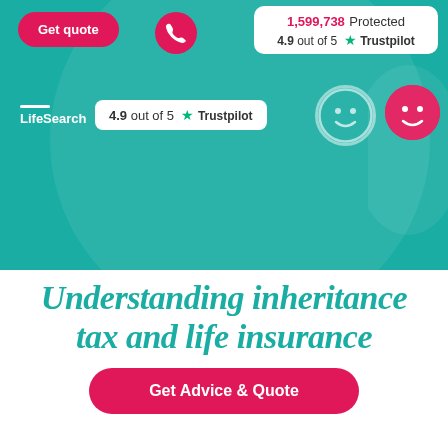[Figure (screenshot): LifeSearch insurance website header with teal background. Shows 'Get quote' pink button, phone icon button, LifeSearch logo, Trustpilot rating badge (4.9 out of 5), and a right-side white card showing '1,599,738 Protected' and '4.9 out of 5 Trustpilot'. Two circular avatar icons on right. Large decorative teal circle in background.]
Understanding inheritance tax and life insurance
Get Advice & Quote